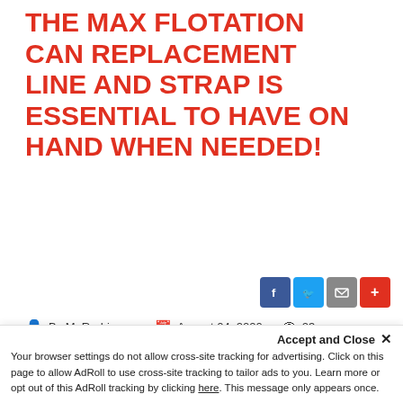THE MAX FLOTATION CAN REPLACEMENT LINE AND STRAP IS ESSENTIAL TO HAVE ON HAND WHEN NEEDED!
By M. Rodriguez   August 04, 2020   23
Comment
[Figure (other): White empty advertisement box with border]
Accept and Close ✕
Your browser settings do not allow cross-site tracking for advertising. Click on this page to allow AdRoll to use cross-site tracking to tailor ads to you. Learn more or opt out of this AdRoll tracking by clicking here. This message only appears once.